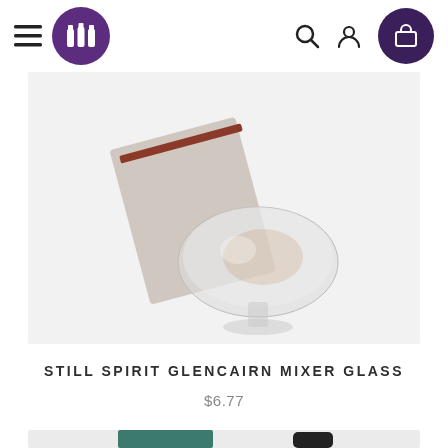[Figure (screenshot): E-commerce website header with hamburger menu, circular purple logo with bottle icons, search icon, user icon, and dark purple cart icon]
[Figure (photo): Product photo of a Glencairn glass whisky mixer with a box behind it on a light background]
STILL SPIRIT GLENCAIRN MIXER GLASS
$6.77
[Figure (photo): Partial view of a second product showing a teal/green square item and a dark cylindrical object]